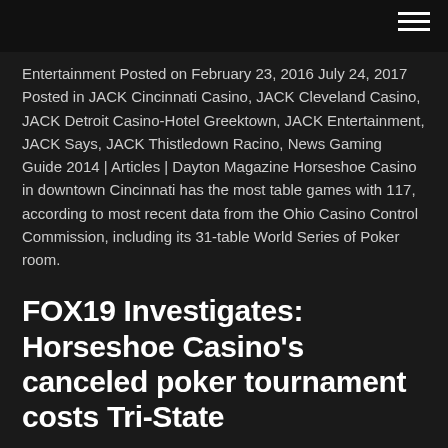Entertainment Posted on February 23, 2016 July 24, 2017 Posted in JACK Cincinnati Casino, JACK Cleveland Casino, JACK Detroit Casino-Hotel Greektown, JACK Entertainment, JACK Says, JACK Thistledown Racino, News Gaming Guide 2014 | Articles | Dayton Magazine Horseshoe Casino in downtown Cincinnati has the most table games with 117, according to most recent data from the Ohio Casino Control Commission, including its 31-table World Series of Poker room.
FOX19 Investigates: Horseshoe Casino's canceled poker tournament costs Tri-State
Horseshoe Cincinnati pays largest Bad Beat jackpot - Bce